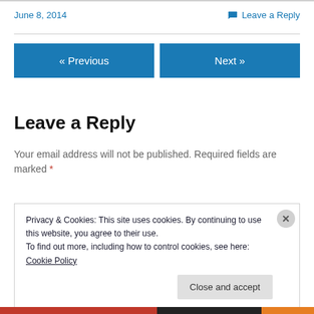June 8, 2014
Leave a Reply
« Previous
Next »
Leave a Reply
Your email address will not be published. Required fields are marked *
Privacy & Cookies: This site uses cookies. By continuing to use this website, you agree to their use.
To find out more, including how to control cookies, see here: Cookie Policy
Close and accept